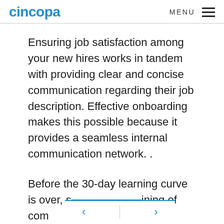cincopa  MENU
Ensuring job satisfaction among your new hires works in tandem with providing clear and concise communication regarding their job description. Effective onboarding makes this possible because it provides a seamless internal communication network. .
Before the 30-day learning curve is over, s[...] ining of com[...] art to